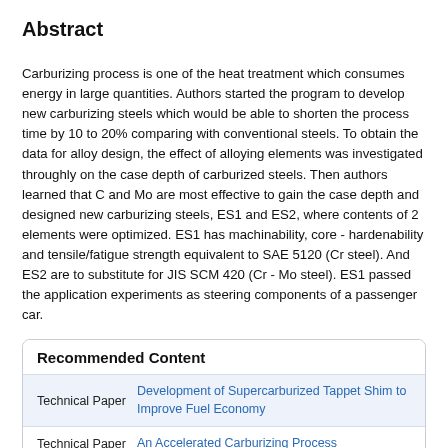Abstract
Carburizing process is one of the heat treatment which consumes energy in large quantities. Authors started the program to develop new carburizing steels which would be able to shorten the process time by 10 to 20% comparing with conventional steels. To obtain the data for alloy design, the effect of alloying elements was investigated throughly on the case depth of carburized steels. Then authors learned that C and Mo are most effective to gain the case depth and designed new carburizing steels, ES1 and ES2, where contents of 2 elements were optimized. ES1 has machinability, core - hardenability and tensile/fatigue strength equivalent to SAE 5120 (Cr steel). And ES2 are to substitute for JIS SCM 420 (Cr - Mo steel). ES1 passed the application experiments as steering components of a passenger car.
Recommended Content
Technical Paper | Development of Supercarburized Tappet Shim to Improve Fuel Economy
Technical Paper | An Accelerated Carburizing Process